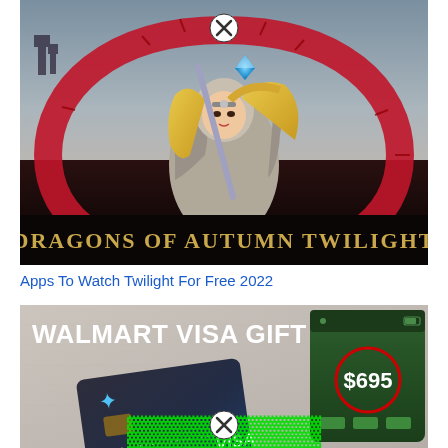[Figure (illustration): Book cover art for 'Dragons of Autumn Twilight' showing a blonde female warrior holding a staff/spear, surrounded by a large red circular dragon or wreath motif, with a dark castle in the background. A close/X button is visible at the top center.]
Apps To Watch Twilight For Free 2022
[Figure (photo): Advertisement image showing a Walmart Visa Gift Card next to a smartphone displaying a Cash App screen with $695 circled in red. The text 'WALMART VISA GIFT CARD' appears in large white bold letters at the top. Green text partially visible at the bottom. A close/X button is visible at the bottom center.]